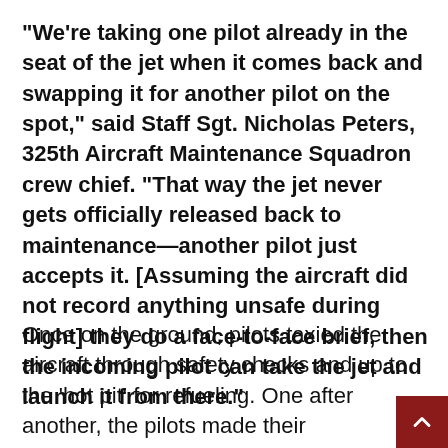“We’re taking one pilot already in the seat of the jet when it comes back and swapping it for another pilot on the spot,” said Staff Sgt. Nicholas Peters, 325th Aircraft Maintenance Squadron crew chief. “That way the jet never gets officially released back to maintenance—another pilot just accepts it. [Assuming the aircraft did not record anything unsafe during flight] they do a face-to-face brief, then the incoming pilot can take the jet and launch it from there.”
Once on the ground, pilots taxied the aircraft through safety checks and up to the ‘hot pit’ for refueling. One after another, the pilots made their